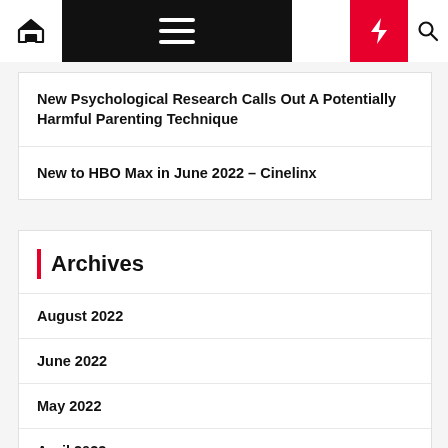Navigation bar with home, menu, moon, bolt, and search icons
New Psychological Research Calls Out A Potentially Harmful Parenting Technique
New to HBO Max in June 2022 – Cinelinx
Archives
August 2022
June 2022
May 2022
April 2022